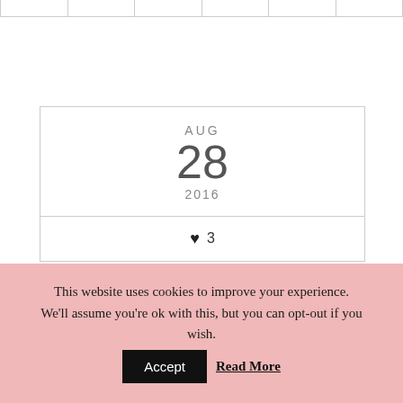Navigation grid header
AUG
28
2016
♥ 3
CRAFT ROOM AND OFFICE SPACE IDEAS
This website uses cookies to improve your experience. We'll assume you're ok with this, but you can opt-out if you wish. Accept Read More